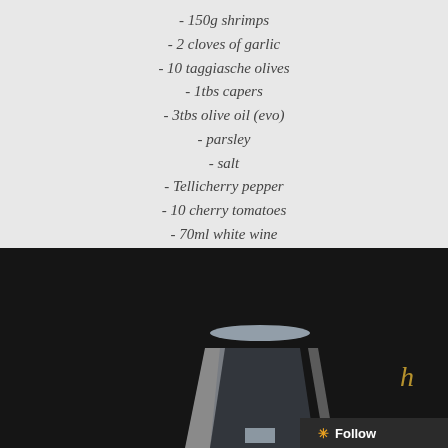- 150g shrimps
- 2 cloves of garlic
- 10 taggiasche olives
- 1tbs capers
- 3tbs olive oil (evo)
- parsley
- salt
- Tellicherry pepper
- 10 cherry tomatoes
- 70ml white wine
[Figure (photo): A glass (possibly a wine glass) photographed against a dark/black background, with partial text 'h' visible in golden color on the right side. A 'Follow' button with an orange asterisk appears in the bottom-right corner.]